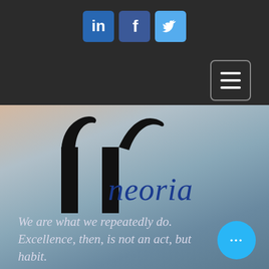[Figure (logo): Social media icons row: LinkedIn (blue square with 'in'), Facebook (dark blue square with 'f'), Twitter (light blue square with bird icon)]
[Figure (other): Hamburger menu button: three horizontal white lines in a rounded rectangle border]
[Figure (logo): Neoria company logo: abstract black arch/gateway symbol above the word 'neoria' in dark blue serif italic font, on a blurred sky/ocean background]
We are what we repeatedly do. Excellence, then, is not an act, but habit.
[Figure (other): Cyan circular 'more' button with three white dots (ellipsis)]